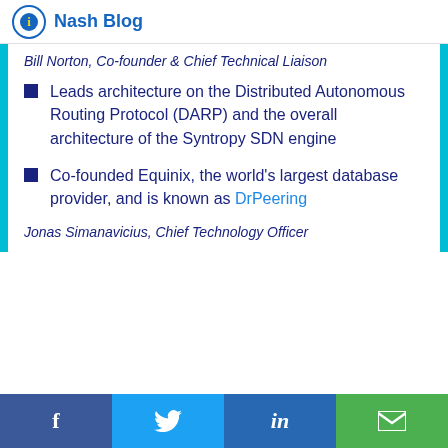Nash Blog
Bill Norton, Co-founder & Chief Technical Liaison
Leads architecture on the Distributed Autonomous Routing Protocol (DARP) and the overall architecture of the Syntropy SDN engine
Co-founded Equinix, the world's largest database provider, and is known as DrPeering
Jonas Simanavicius, Chief Technology Officer
f  Twitter  in  Email